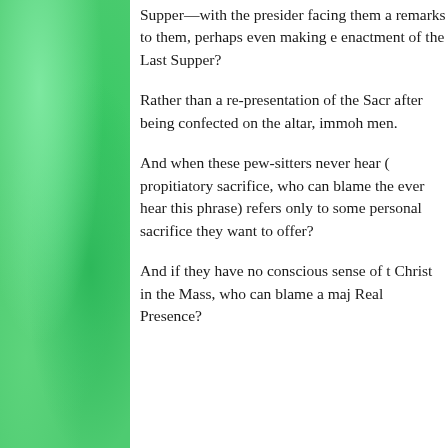Supper—with the presider facing them and making remarks to them, perhaps even making enactment of the Last Supper?
Rather than a re-presentation of the Sacr after being confected on the altar, immol men.
And when these pew-sitters never hear ( propitiatory sacrifice, who can blame the ever hear this phrase) refers only to some personal sacrifice they want to offer?
And if they have no conscious sense of the Christ in the Mass, who can blame a maj Real Presence?